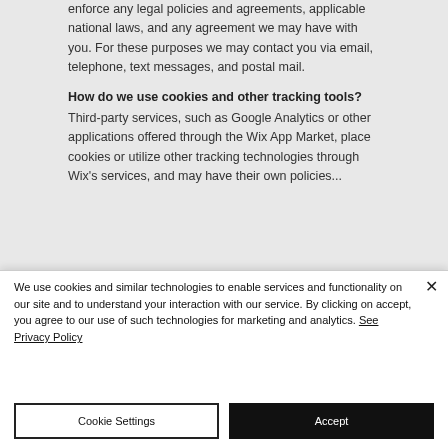enforce any legal policies and agreements, applicable national laws, and any agreement we may have with you. For these purposes we may contact you via email, telephone, text messages, and postal mail.
How do we use cookies and other tracking tools?
Third-party services, such as Google Analytics or other applications offered through the Wix App Market, place cookies or utilize other tracking technologies through Wix's services, and may have their own policies...
We use cookies and similar technologies to enable services and functionality on our site and to understand your interaction with our service. By clicking on accept, you agree to our use of such technologies for marketing and analytics. See Privacy Policy
Cookie Settings
Accept